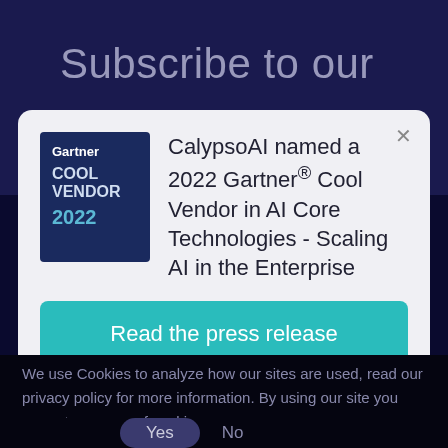Subscribe to our
[Figure (screenshot): Modal popup with Gartner Cool Vendor 2022 badge and article title about CalypsoAI]
CalypsoAI named a 2022 Gartner® Cool Vendor in AI Core Technologies - Scaling AI in the Enterprise
Read the press release
We use Cookies to analyze how our sites are used, read our privacy policy for more information. By using our site you agree to our use of cookies
Yes  No